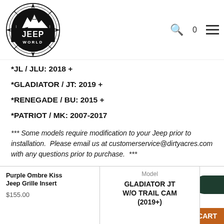[Figure (logo): Jeep World compass logo with mountains, circular design, black and white]
*JL / JLU: 2018 +
*GLADIATOR / JT: 2019 +
*RENEGADE / BU: 2015 +
*PATRIOT / MK: 2007-2017
*** Some models require modification to your Jeep prior to installation.  Please email us at customerservice@dirtyacres.com with any questions prior to purchase.  ***
Purple Ombre Kiss Jeep Grille Insert
$155.00
Model
GLADIATOR JT W/O TRAIL CAM (2019+)
Chat with us
CART